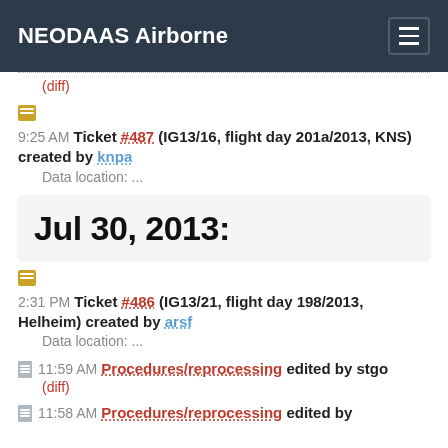NEODAAS Airborne
(diff)
9:25 AM Ticket #487 (IG13/16, flight day 201a/2013, KNS) created by knpa
Data location: ...
Jul 30, 2013:
2:31 PM Ticket #486 (IG13/21, flight day 198/2013, Helheim) created by arsf
Data location: ...
11:59 AM Procedures/reprocessing edited by stgo
(diff)
11:58 AM Procedures/reprocessing edited by